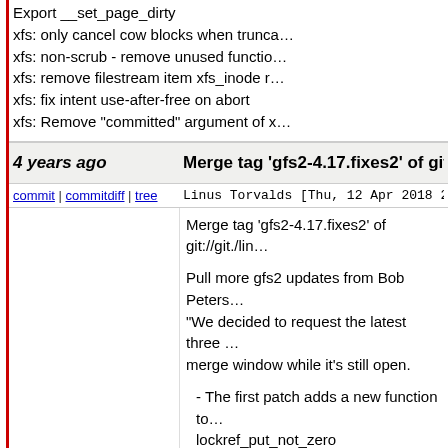Export __set_page_dirty
xfs: only cancel cow blocks when trunc...
xfs: non-scrub - remove unused functio...
xfs: remove filestream item xfs_inode r...
xfs: fix intent use-after-free on abort
xfs: Remove "committed" argument of x...
4 years ago
Merge tag 'gfs2-4.17.fixes2' of git://git...
commit | commitdiff | tree
Linus Torvalds [Thu, 12 Apr 2018 20:0...
Merge tag 'gfs2-4.17.fixes2' of git://git./lin
Pull more gfs2 updates from Bob Peterso...
"We decided to request the latest three...
merge window while it's still open.

- The first patch adds a new function to...
lockref_put_not_zero

- The second patch fixes GFS2's glock...
lockref function. This fixes a problem...
miss glocks.

- I made a minor patch to update some...